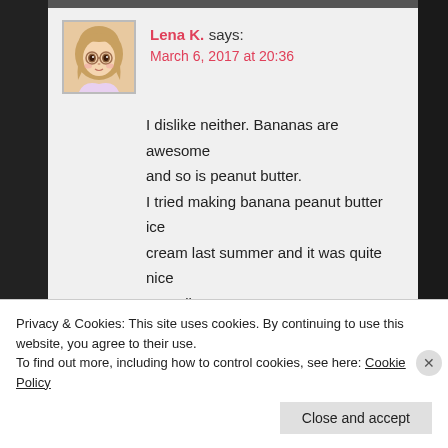Lena K. says:
March 6, 2017 at 20:36
I dislike neither. Bananas are awesome and so is peanut butter.
I tried making banana peanut butter ice cream last summer and it was quite nice as well~
Privacy & Cookies: This site uses cookies. By continuing to use this website, you agree to their use.
To find out more, including how to control cookies, see here: Cookie Policy